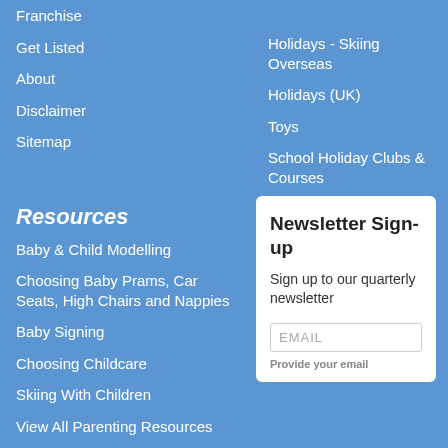Franchise
Get Listed
About
Disclaimer
Sitemap
Holidays - Skiing Overseas
Holidays (UK)
Toys
School Holiday Clubs & Courses
Resources
Baby & Child Modelling
Choosing Baby Prams, Car Seats, High Chairs and Nappies
Baby Signing
Choosing Childcare
Skiing With Children
View All Parenting Resources
Newsletter Sign-up
Sign up to our quarterly newsletter
EMAIL
Provide your email